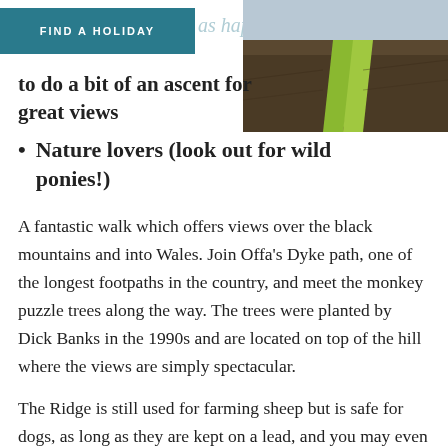FIND A HOLIDAY
[Figure (photo): Aerial or elevated view of a green path/trail through dark moorland or heathland]
to do a bit of an ascent for great views
Nature lovers (look out for wild ponies!)
A fantastic walk which offers views over the black mountains and into Wales. Join Offa’s Dyke path, one of the longest footpaths in the country, and meet the monkey puzzle trees along the way. The trees were planted by Dick Banks in the 1990s and are located on top of the hill where the views are simply spectacular.
The Ridge is still used for farming sheep but is safe for dogs, as long as they are kept on a lead, and you may even spot the wild ponies that have been roaming the